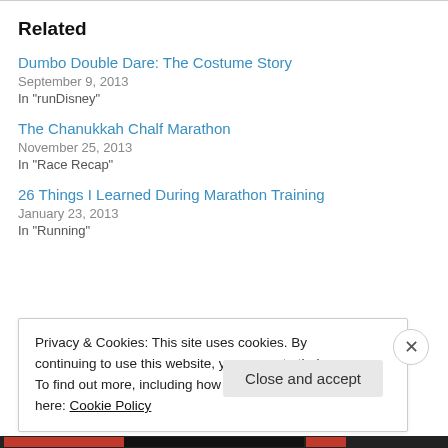Related
Dumbo Double Dare: The Costume Story
September 9, 2013
In "runDisney"
The Chanukkah Chalf Marathon
November 25, 2013
In "Race Recap"
26 Things I Learned During Marathon Training
January 23, 2013
In "Running"
Privacy & Cookies: This site uses cookies. By continuing to use this website, you agree to their use.
To find out more, including how to control cookies, see here: Cookie Policy